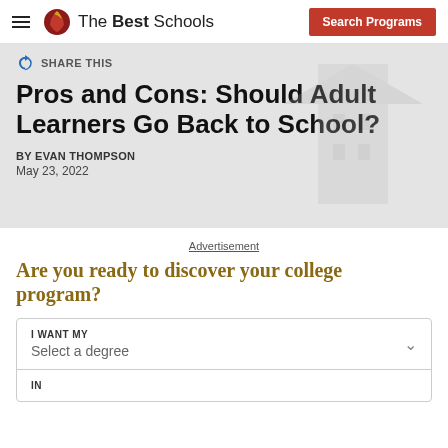The Best Schools — Search Programs
SHARE THIS
Pros and Cons: Should Adult Learners Go Back to School?
BY EVAN THOMPSON
May 23, 2022
Advertisement
Are you ready to discover your college program?
| I WANT MY | IN |
| --- | --- |
| Select a degree |  |